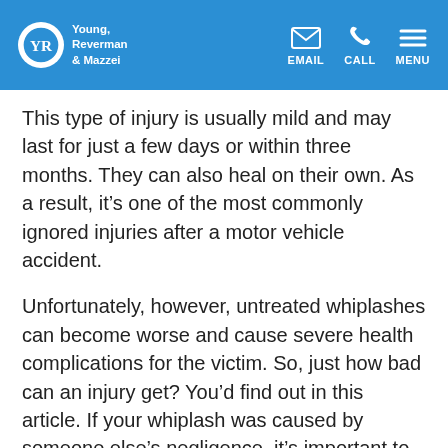Young, Reverman & Mazzei — EMAIL | CALL | MENU
This type of injury is usually mild and may last for just a few days or within three months. They can also heal on their own. As a result, it's one of the most commonly ignored injuries after a motor vehicle accident.
Unfortunately, however, untreated whiplashes can become worse and cause severe health complications for the victim. So, just how bad can an injury get? You'd find out in this article. If your whiplash was caused by someone else's negligence, it's important to speak with a